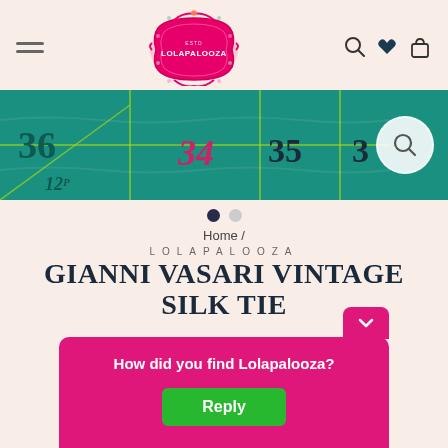[Figure (logo): Lolapalooza decorative pink logo with ornate frame]
[Figure (photo): Close-up of a green roulette/gambling table with numbers 34, 35, 36 visible]
Home /
LOLAPALOOZA
GIANNI VASARI VINTAGE SILK TIE
How did you find Lolapalooza?
Reply